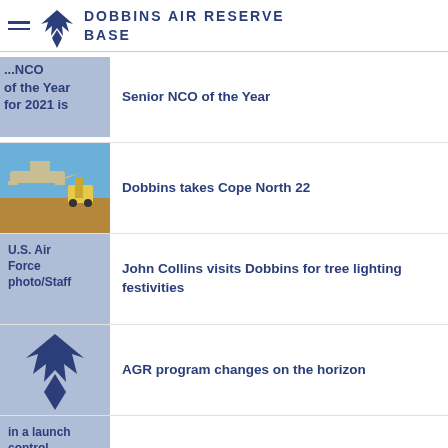DOBBINS AIR RESERVE BASE
Senior NCO of the Year
Dobbins takes Cope North 22
John Collins visits Dobbins for tree lighting festivities
AGR program changes on the horizon
AFRC leaders visit F.E. Warren